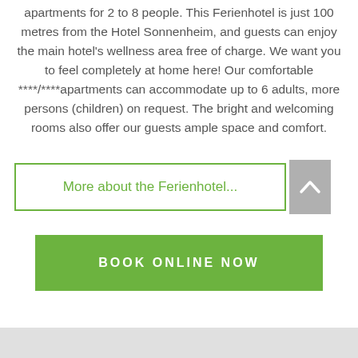apartments for 2 to 8 people. This Ferienhotel is just 100 metres from the Hotel Sonnenheim, and guests can enjoy the main hotel's wellness area free of charge. We want you to feel completely at home here! Our comfortable ***/****apartments can accommodate up to 6 adults, more persons (children) on request. The bright and welcoming rooms also offer our guests ample space and comfort.
More about the Ferienhotel...
BOOK ONLINE NOW